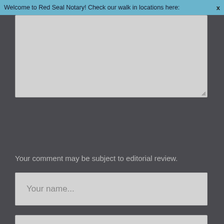Welcome to Red Seal Notary! Check our walk in locations here:
[Figure (screenshot): Textarea input box, light gray background with resize handle at bottom right]
Your comment may be subject to editorial review.
Your name...
Your email...
Your website...